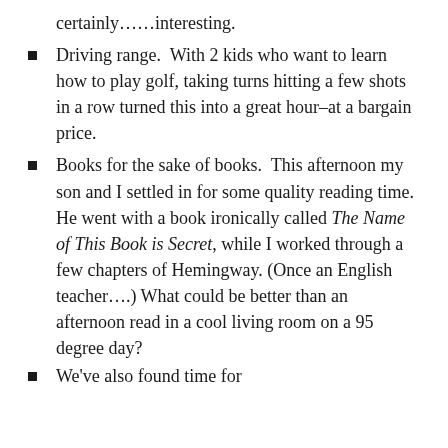certainly……interesting.
Driving range.  With 2 kids who want to learn how to play golf, taking turns hitting a few shots in a row turned this into a great hour–at a bargain price.
Books for the sake of books.  This afternoon my son and I settled in for some quality reading time.  He went with a book ironically called The Name of This Book is Secret, while I worked through a few chapters of Hemingway. (Once an English teacher….)  What could be better than an afternoon read in a cool living room on a 95 degree day?
We've also found time for